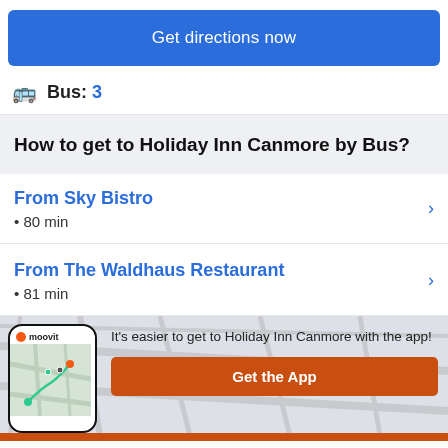Get directions now
Bus: 3
How to get to Holiday Inn Canmore by Bus?
From Sky Bistro • 80 min
From The Waldhaus Restaurant • 81 min
[Figure (screenshot): Moovit app banner with phone mockup showing map routes, text 'It's easier to get to Holiday Inn Canmore with the app!' and orange Get the App button]